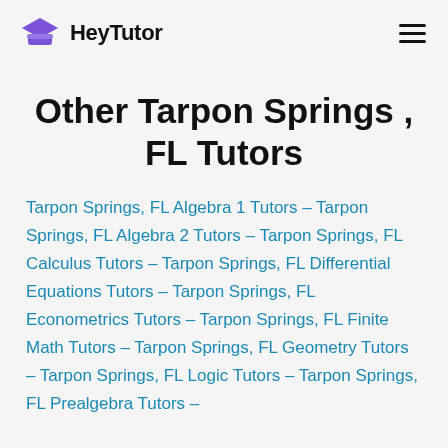HeyTutor
Other Tarpon Springs , FL Tutors
Tarpon Springs, FL Algebra 1 Tutors – Tarpon Springs, FL Algebra 2 Tutors – Tarpon Springs, FL Calculus Tutors – Tarpon Springs, FL Differential Equations Tutors – Tarpon Springs, FL Econometrics Tutors – Tarpon Springs, FL Finite Math Tutors – Tarpon Springs, FL Geometry Tutors – Tarpon Springs, FL Logic Tutors – Tarpon Springs, FL Prealgebra Tutors –